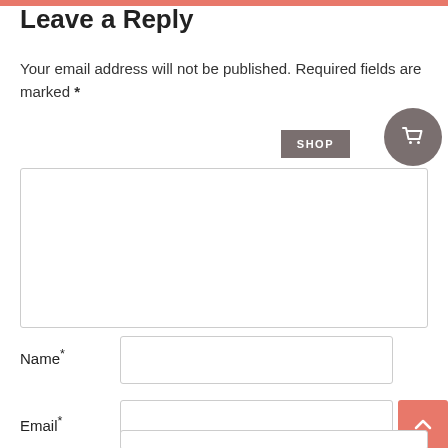Leave a Reply
Your email address will not be published. Required fields are marked *
[Figure (screenshot): Comment text area input box (empty), SHOP button, and shopping cart circle button overlay]
Name*
[Figure (screenshot): Name input field (empty text box)]
Email*
[Figure (screenshot): Email input field (empty text box) with scroll-to-top button overlay (salmon/coral colored square with up arrow)]
[Figure (screenshot): Website/URL input field (partially visible at bottom)]